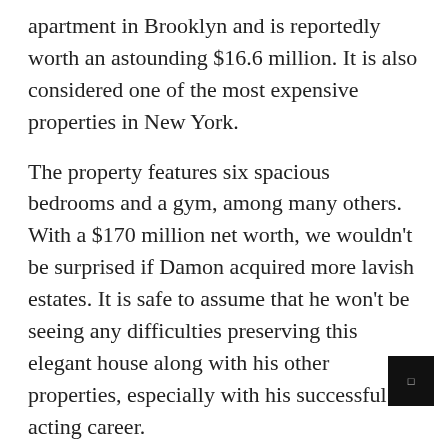apartment in Brooklyn and is reportedly worth an astounding $16.6 million. It is also considered one of the most expensive properties in New York.
The property features six spacious bedrooms and a gym, among many others. With a $170 million net worth, we wouldn't be surprised if Damon acquired more lavish estates. It is safe to assume that he won't be seeing any difficulties preserving this elegant house along with his other properties, especially with his successful acting career.
SAMUEL L. JACKSON – $30 MILLION, BEVERLY HILLS, CALIFORNIA